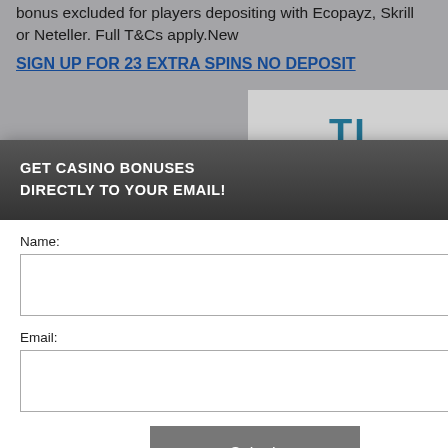bonus excluded for players depositing with Ecopayz, Skrill or Neteller. Full T&Cs apply.New
SIGN UP FOR 23 EXTRA SPINS NO DEPOSIT
[Figure (screenshot): Casino logo showing 'TI NO' in teal/blue letters on white background]
GET CASINO BONUSES
DIRECTLY TO YOUR EMAIL!
Name:
Email:
Submit
By subscribing you are certifying that you have reviewed and accepted our updated Privacy and Cookie policy.
perience, we use
Using this site,
kie & privacy policy.
old
ion.
posit